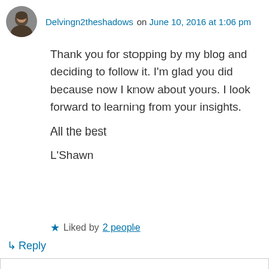Delvingn2theshadows on June 10, 2016 at 1:06 pm
Thank you for stopping by my blog and deciding to follow it. I'm glad you did because now I know about yours. I look forward to learning from your insights.
All the best
L'Shawn
★ Liked by 2 people
↳ Reply
Privacy & Cookies: This site uses cookies. By continuing to use this website, you agree to their use.
To find out more, including how to control cookies, see here: Cookie Policy
Close and accept
wordpress group, is finding all those